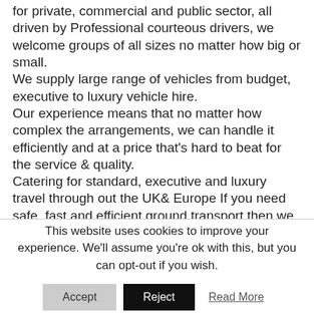for private, commercial and public sector, all driven by Professional courteous drivers, we welcome groups of all sizes no matter how big or small.
We supply large range of vehicles from budget, executive to luxury vehicle hire.
Our experience means that no matter how complex the arrangements, we can handle it efficiently and at a price that's hard to beat for the service & quality.
Catering for standard, executive and luxury travel through out the UK& Europe If you need safe, fast and efficient ground transport then we are the people to call for affordable and competitive prices
We supply
-Executive cars
This website uses cookies to improve your experience. We'll assume you're ok with this, but you can opt-out if you wish.